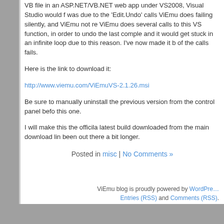VB file in an ASP.NET/VB.NET web app under VS2008, Visual Studio would freeze. This was due to the 'Edit.Undo' calls ViEmu does failing silently, and ViEmu not reacting to it. ViEmu does several calls to this VS function, in order to undo the last complete vi command, and it would get stuck in an infinite loop due to this reason. I've now made it break out if any of the calls fails.
Here is the link to download it:
http://www.viemu.com/ViEmuVS-2.1.26.msi
Be sure to manually uninstall the previous version from the control panel before installing this one.
I will make this the officila latest build downloaded from the main download link once it's been out there a bit longer.
Posted in misc | No Comments »
ViEmu blog is proudly powered by WordPress. Entries (RSS) and Comments (RSS).